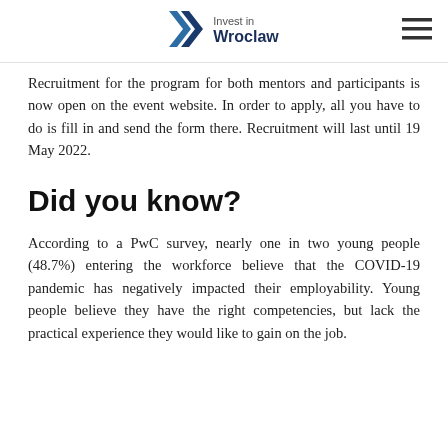Invest in Wroclaw
Recruitment for the program for both mentors and participants is now open on the event website. In order to apply, all you have to do is fill in and send the form there. Recruitment will last until 19 May 2022.
Did you know?
According to a PwC survey, nearly one in two young people (48.7%) entering the workforce believe that the COVID-19 pandemic has negatively impacted their employability. Young people believe they have the right competencies, but lack the practical experience they would like to gain on the job.